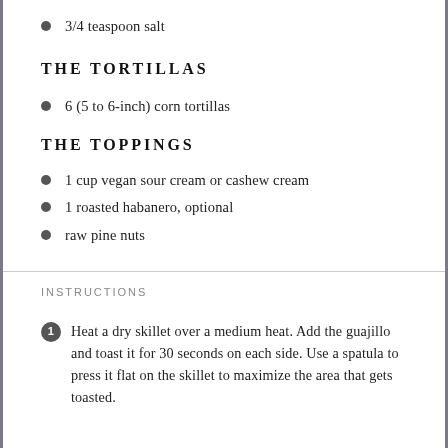3/4 teaspoon salt
THE TORTILLAS
6 (5 to 6-inch) corn tortillas
THE TOPPINGS
1 cup vegan sour cream or cashew cream
1 roasted habanero, optional
raw pine nuts
INSTRUCTIONS
Heat a dry skillet over a medium heat. Add the guajillo and toast it for 30 seconds on each side. Use a spatula to press it flat on the skillet to maximize the area that gets toasted.